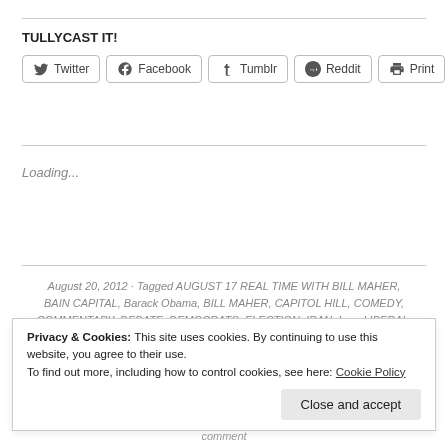TULLYCAST IT!
Twitter  Facebook  Tumblr  Reddit  Print
Loading...
August 20, 2012 · Tagged AUGUST 17 REAL TIME WITH BILL MAHER, BAIN CAPITAL, Barack Obama, BILL MAHER, CAPITOL HILL, COMEDY, COMMENTARY, DEBATE, DEMOCRATS, ELECTION, IRAN, Iraq, LIBERAL, MIDDLE EAST, MITT ROMNEY, NEW RULES, Obama, OCCUPY WALL
Privacy & Cookies: This site uses cookies. By continuing to use this website, you agree to their use. To find out more, including how to control cookies, see here: Cookie Policy
Close and accept
comment